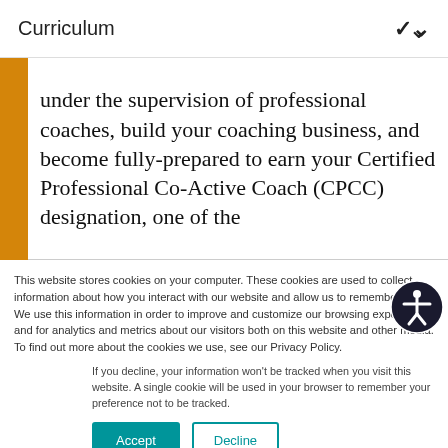Curriculum
under the supervision of professional coaches, build your coaching business, and become fully-prepared to earn your Certified Professional Co-Active Coach (CPCC) designation, one of the
This website stores cookies on your computer. These cookies are used to collect information about how you interact with our website and allow us to remember you. We use this information in order to improve and customize your browsing experience and for analytics and metrics about our visitors both on this website and other media. To find out more about the cookies we use, see our Privacy Policy.
If you decline, your information won't be tracked when you visit this website. A single cookie will be used in your browser to remember your preference not to be tracked.